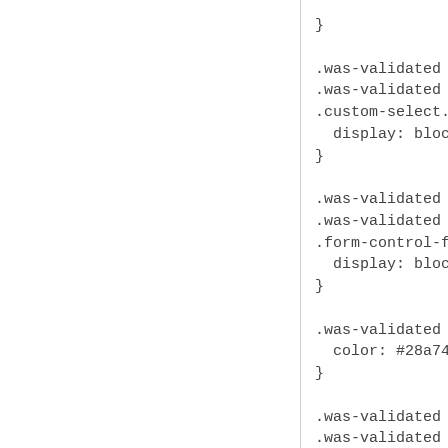}

.was-validated .custom-select:valid
.was-validated .custom-select:valid
.custom-select.is-valid ~ .valid-tool
  display: block;
}

.was-validated .form-control-file:val
.was-validated .form-control-file:val
.form-control-file.is-valid ~ .valid-to
  display: block;
}

.was-validated .form-check-input:va
  color: #28a745;
}

.was-validated .form-check-input:va
.was-validated .form-check-input:va
.form-check-input.is-valid ~ .valid-t
  display: block;
}